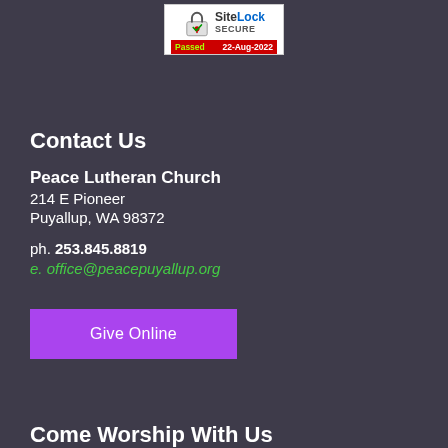[Figure (logo): SiteLock SECURE badge showing 'Passed 22-Aug-2022' with a padlock icon]
Contact Us
Peace Lutheran Church
214 E Pioneer
Puyallup, WA 98372

ph. 253.845.8819
e. office@peacepuyallup.org
Give Online
Come Worship With Us